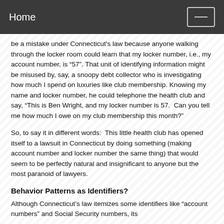Home
be a mistake under Connecticut's law because anyone walking through the locker room could learn that my locker number, i.e., my account number, is “57". That unit of identifying information might be misused by, say, a snoopy debt collector who is investigating how much I spend on luxuries like club membership. Knowing my name and locker number, he could telephone the health club and say, “This is Ben Wright, and my locker number is 57.  Can you tell me how much I owe on my club membership this month?"
So, to say it in different words:  This little health club has opened itself to a lawsuit in Connecticut by doing something (making account number and locker number the same thing) that would seem to be perfectly natural and insignificant to anyone but the most paranoid of lawyers.
Behavior Patterns as Identifiers?
Although Connecticut’s law itemizes some identifiers like “account numbers” and Social Security numbers, its